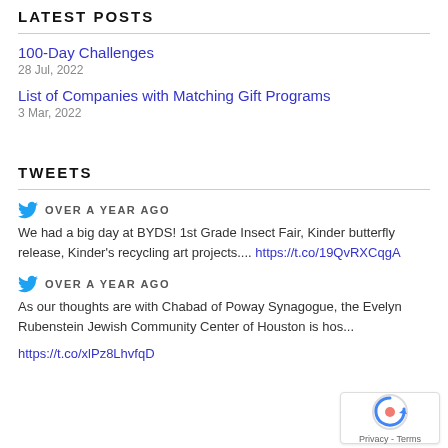LATEST POSTS
100-Day Challenges
28 Jul, 2022
List of Companies with Matching Gift Programs
3 Mar, 2022
TWEETS
OVER A YEAR AGO
We had a big day at BYDS! 1st Grade Insect Fair, Kinder butterfly release, Kinder's recycling art projects.... https://t.co/19QvRXCqgA
OVER A YEAR AGO
As our thoughts are with Chabad of Poway Synagogue, the Evelyn Rubenstein Jewish Community Center of Houston is hos...
https://t.co/xlPz8LhvfqD